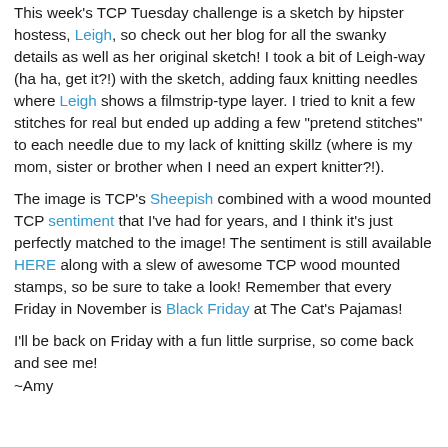This week's TCP Tuesday challenge is a sketch by hipster hostess, Leigh, so check out her blog for all the swanky details as well as her original sketch! I took a bit of Leigh-way (ha ha, get it?!) with the sketch, adding faux knitting needles where Leigh shows a filmstrip-type layer. I tried to knit a few stitches for real but ended up adding a few "pretend stitches" to each needle due to my lack of knitting skillz (where is my mom, sister or brother when I need an expert knitter?!).
The image is TCP's Sheepish combined with a wood mounted TCP sentiment that I've had for years, and I think it's just perfectly matched to the image! The sentiment is still available HERE along with a slew of awesome TCP wood mounted stamps, so be sure to take a look! Remember that every Friday in November is Black Friday at The Cat's Pajamas!
I'll be back on Friday with a fun little surprise, so come back and see me!
~Amy